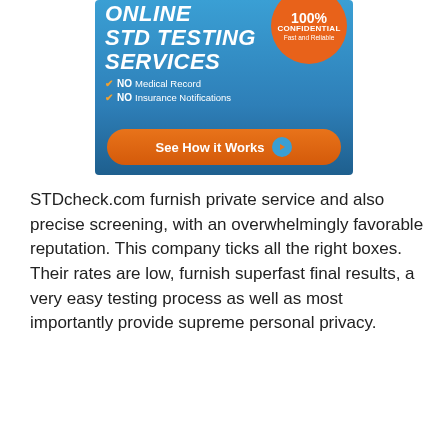[Figure (infographic): Online STD Testing Services advertisement banner. Blue background with white bold italic text reading 'ONLINE STD TESTING SERVICES'. Orange circle badge in top right reading '100% CONFIDENTIAL Fast and Reliable'. Two checkmark items: 'NO Medical Record' and 'NO Insurance Notifications'. Orange rounded button at bottom reading 'See How it Works' with play icon.]
STDcheck.com furnish private service and also precise screening, with an overwhelmingly favorable reputation. This company ticks all the right boxes. Their rates are low, furnish superfast final results, a very easy testing process as well as most importantly provide supreme personal privacy.